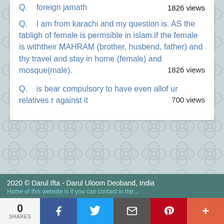foreign jamath — 1826 views (truncated at top)
Q.   I am from karachi and my question is. AS the tabligh of female is permsible in islam.if the female is withtheir MAHRAM (brother, husbend, father) and thy travel and stay in home (female) and mosque(male). 1826 views
Q.   is bear compulsory to have even allof ur relatives r against it — 700 views
[Figure (other): Decorative mosaic tile pattern background in grey and white]
2020 © Darul Ifta - Darul Uloom Deoband, India
0 SHARES | Facebook | Twitter | Email | Pinterest | More